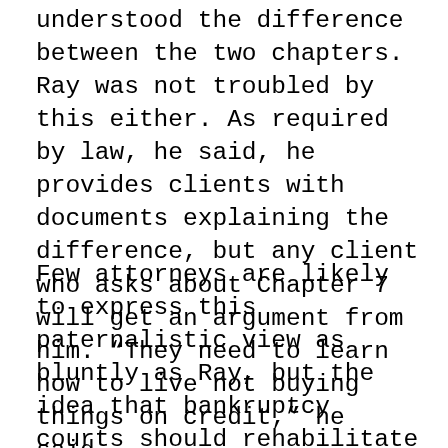understood the difference between the two chapters. Ray was not troubled by this either. As required by law, he said, he provides clients with documents explaining the difference, but any client who asks about Chapter 7 will get an argument from him. “They need to learn how to live not buying things on credit,” he said.
Few attorneys are likely to express this paternalistic view as bluntly as Ray, but the idea that bankruptcy courts should rehabilitate debtors instead of simply freeing them of their debts dates back to the 1930s, when, buoyed by creditors’ lobbying efforts, Chapter 13 first became